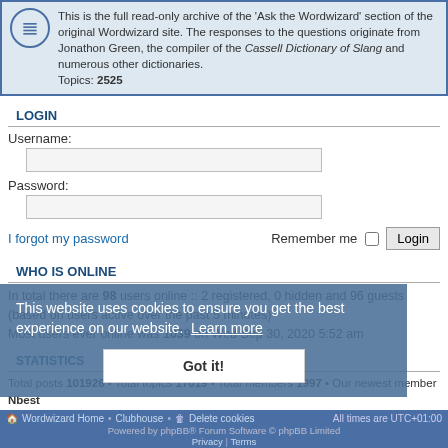This is the full read-only archive of the 'Ask the Wordwizard' section of the original Wordwizard site. The responses to the questions originate from Jonathon Green, the compiler of the Cassell Dictionary of Slang and numerous other dictionaries. Topics: 2525
LOGIN
Username:
Password:
I forgot my password
Remember me
WHO IS ONLINE
In total there are 98 users online :: 2 registered, 0 hidden and 96 guests (based on users active over the past 5 minutes)
Most users ever online was 1039 on Wed Sep 30, 2020 5:52 am
STATISTICS
Total posts 101926 • Total topics 17019 • Total members 1997 • Our newest member Nbest
This website uses cookies to ensure you get the best experience on our website. Learn more
Got it!
Wordwizard Home • Clubhouse • Delete cookies  All times are UTC+01:00
Powered by phpBB® Forum Software © phpBB Limited
Privacy | Terms